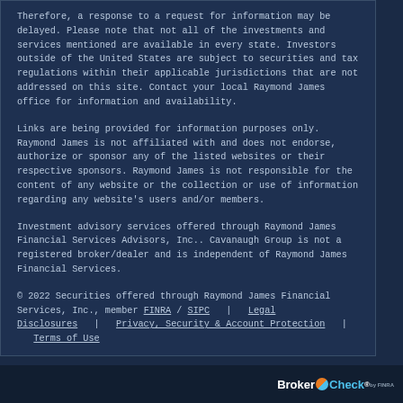Therefore, a response to a request for information may be delayed. Please note that not all of the investments and services mentioned are available in every state. Investors outside of the United States are subject to securities and tax regulations within their applicable jurisdictions that are not addressed on this site. Contact your local Raymond James office for information and availability.
Links are being provided for information purposes only. Raymond James is not affiliated with and does not endorse, authorize or sponsor any of the listed websites or their respective sponsors. Raymond James is not responsible for the content of any website or the collection or use of information regarding any website's users and/or members.
Investment advisory services offered through Raymond James Financial Services Advisors, Inc.. Cavanaugh Group is not a registered broker/dealer and is independent of Raymond James Financial Services.
© 2022 Securities offered through Raymond James Financial Services, Inc., member FINRA / SIPC | Legal Disclosures | Privacy, Security & Account Protection | Terms of Use
BrokerCheck by FINRA